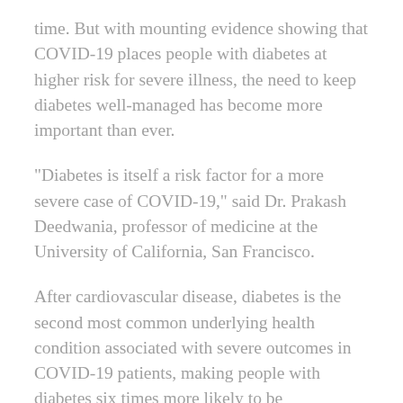time. But with mounting evidence showing that COVID-19 places people with diabetes at higher risk for severe illness, the need to keep diabetes well-managed has become more important than ever.
"Diabetes is itself a risk factor for a more severe case of COVID-19," said Dr. Prakash Deedwania, professor of medicine at the University of California, San Francisco.
After cardiovascular disease, diabetes is the second most common underlying health condition associated with severe outcomes in COVID-19 patients, making people with diabetes six times more likely to be hospitalized and 12 times more likely to die than those without pre-existing, underlying conditions, according to the Centers for Disease Control and Prevention.
But having diabetes under control can make all the difference. A recent study from China published in the